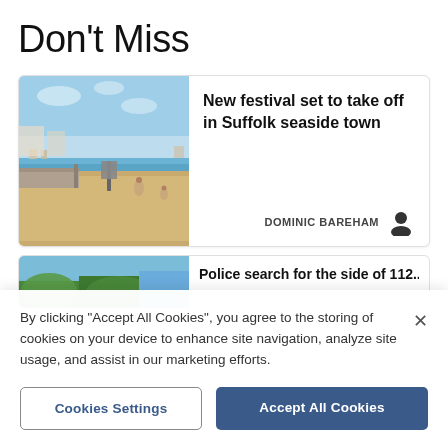Don't Miss
[Figure (photo): Beach scene with sandy shore, promenade walkway, and sea in background on a sunny day]
New festival set to take off in Suffolk seaside town
DOMINIC BAREHAM
[Figure (photo): Partially visible second article image showing greenery and blue sky]
Police search for the site of 112...
By clicking "Accept All Cookies", you agree to the storing of cookies on your device to enhance site navigation, analyze site usage, and assist in our marketing efforts.
Cookies Settings
Accept All Cookies